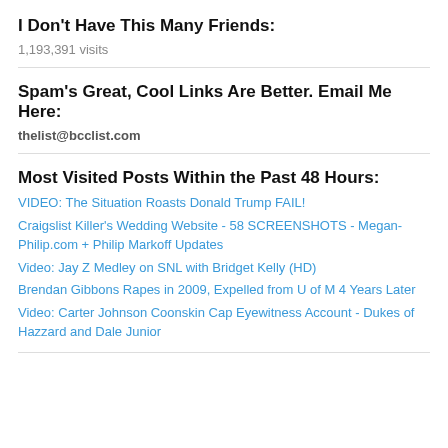I Don't Have This Many Friends:
1,193,391 visits
Spam's Great, Cool Links Are Better. Email Me Here:
thelist@bcclist.com
Most Visited Posts Within the Past 48 Hours:
VIDEO: The Situation Roasts Donald Trump FAIL!
Craigslist Killer's Wedding Website - 58 SCREENSHOTS - Megan-Philip.com + Philip Markoff Updates
Video: Jay Z Medley on SNL with Bridget Kelly (HD)
Brendan Gibbons Rapes in 2009, Expelled from U of M 4 Years Later
Video: Carter Johnson Coonskin Cap Eyewitness Account - Dukes of Hazzard and Dale Junior